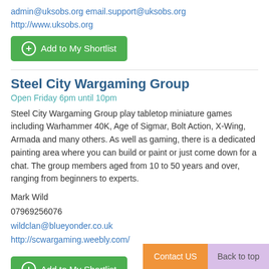admin@uksobs.org email.support@uksobs.org
http://www.uksobs.org
Add to My Shortlist
Steel City Wargaming Group
Open Friday 6pm until 10pm
Steel City Wargaming Group play tabletop miniature games including Warhammer 40K, Age of Sigmar, Bolt Action, X-Wing, Armada and many others. As well as gaming, there is a dedicated painting area where you can build or paint or just come down for a chat. The group members aged from 10 to 50 years and over, ranging from beginners to experts.
Mark Wild
07969256076
wildclan@blueyonder.co.uk
http://scwargaming.weebly.com/
Add to My Shortlist
Skydive Hibaldstow